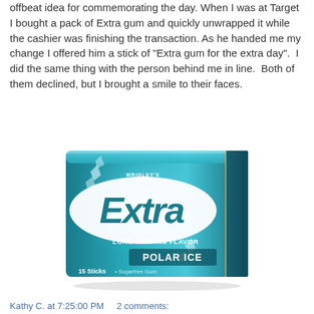offbeat idea for commemorating the day. When I was at Target I bought a pack of Extra gum and quickly unwrapped it while the cashier was finishing the transaction. As he handed me my change I offered him a stick of "Extra gum for the extra day". I did the same thing with the person behind me in line. Both of them declined, but I brought a smile to their faces.
[Figure (photo): Photo of a pack of Wrigley's Extra gum, Polar Ice flavor, Long Lasting Flavor, 15 Sticks Sugar Free Gum. Teal/blue packaging with ice crystal imagery.]
Kathy C. at 7:25:00 PM     2 comments: